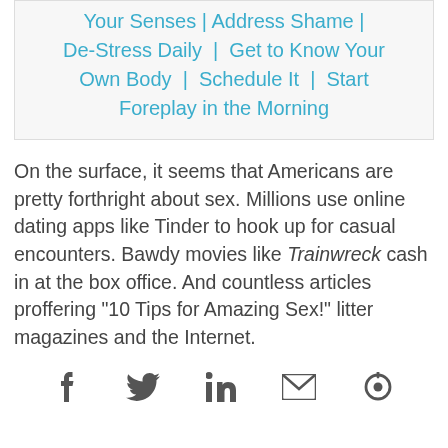Your Senses | Address Shame | De-Stress Daily | Get to Know Your Own Body | Schedule It | Start Foreplay in the Morning
On the surface, it seems that Americans are pretty forthright about sex. Millions use online dating apps like Tinder to hook up for casual encounters. Bawdy movies like Trainwreck cash in at the box office. And countless articles proffering “10 Tips for Amazing Sex!” litter magazines and the Internet.
[Figure (infographic): Social share icons: Facebook, Twitter, LinkedIn, Email, and a refresh/share icon]